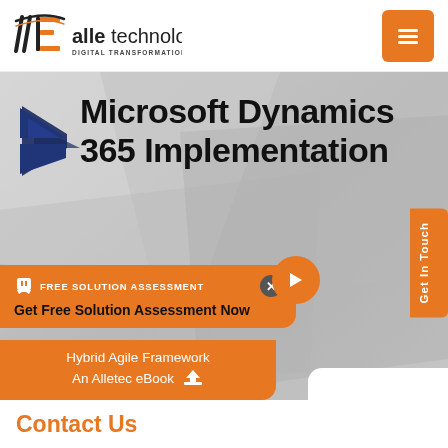[Figure (logo): Alletechnologies logo with stylized A/E letters in black and orange, with tagline DIGITAL TRANSFORMATION SOLUTIONS]
[Figure (other): Hamburger menu button, orange square with three white lines]
Microsoft Dynamics 365 Implementation
[Figure (logo): Microsoft Dynamics 365 logo - dark navy blue arrow chevron pointing right]
Get In Touch
FREE SOLUTION ASSESSMENT
Get Free Solution Assessment Now
Hybrid Agile Framework An Alletec eBook
Contact Us